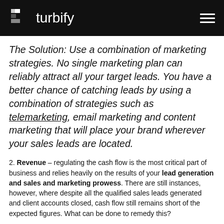turbify
The Solution: Use a combination of marketing strategies. No single marketing plan can reliably attract all your target leads. You have a better chance of catching leads by using a combination of strategies such as telemarketing, email marketing and content marketing that will place your brand wherever your sales leads are located.
2. Revenue – regulating the cash flow is the most critical part of business and relies heavily on the results of your lead generation and sales and marketing prowess. There are still instances, however, where despite all the qualified sales leads generated and client accounts closed, cash flow still remains short of the expected figures. What can be done to remedy this?